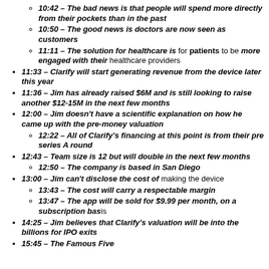10:42 – The bad news is that people will spend more directly from their pockets than in the past
10:50 – The good news is doctors are now seen as customers
11:11 – The solution for healthcare is for patients to be more engaged with their healthcare providers
11:33 – Clarify will start generating revenue from the device later this year
11:36 – Jim has already raised $6M and is still looking to raise another $12-15M in the next few months
12:00 – Jim doesn't have a scientific explanation on how he came up with the pre-money valuation
12:22 – All of Clarify's financing at this point is from their pre series A round
12:43 – Team size is 12 but will double in the next few months
12:50 – The company is based in San Diego
13:00 – Jim can't disclose the cost of making the device
13:43 – The cost will carry a respectable margin
13:47 – The app will be sold for $9.99 per month, on a subscription basis
14:25 – Jim believes that Clarify's valuation will be into the billions for IPO exits
15:45 – The Famous Five